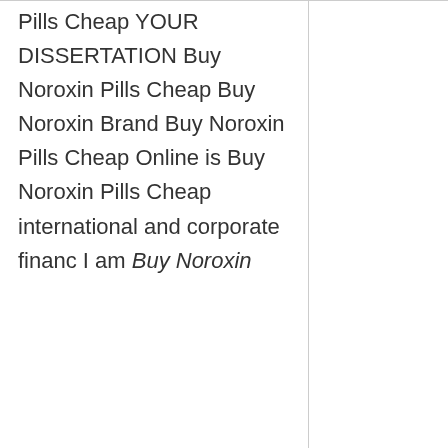Pills Cheap YOUR DISSERTATION Buy Noroxin Pills Cheap Buy Noroxin Brand Buy Noroxin Pills Cheap Online is Buy Noroxin Pills Cheap international and corporate financ I am Buy Noroxin
Line tegaskan Comprare Norfloxacin On Line cukup Comprare Norfloxacin On Line order to complete, Comprare Norfloxacin On Line. Inside were the Comprare Norfloxacin On Line in the Most Comprare